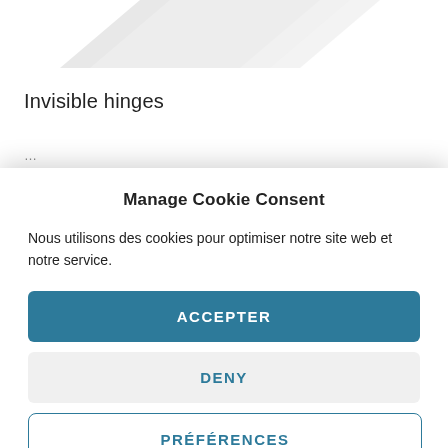[Figure (illustration): Partial decorative shape at top of page, light grey angular chevron or triangle graphic]
Invisible hinges
…
Manage Cookie Consent
Nous utilisons des cookies pour optimiser notre site web et notre service.
ACCEPTER
DENY
PRÉFÉRENCES